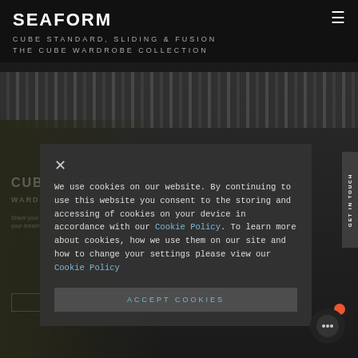SEAFORM
CUBE STANDARD, SLIDING & FUSION
THE CUBE WARDROBE COLLECTION
[Figure (screenshot): Dark background wardrobe product page with vertical striped curtain/panel image, overlaid with cookie consent dialog. Background shows CUBE STANDARD heading, WARDROBES WITH HINGED text, and GET YOUR DESIGN button. GET IN TOUCH vertical sidebar element on right.]
We use cookies on our website. By continuing to use this website you consent to the storing and accessing of cookies on your device in accordance with our Cookie Policy. To learn more about cookies, how we use them on our site and how to change your settings please view our Cookie Policy